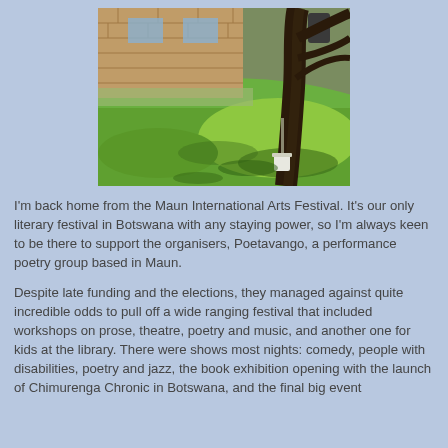[Figure (photo): Outdoor garden/yard scene with a large tree trunk in the foreground right, green grass lawn, a brick building visible in the upper left background, and a white bucket or container near the base of the tree. Bright sunlight, daytime.]
I'm back home from the Maun International Arts Festival. It's our only literary festival in Botswana with any staying power, so I'm always keen to be there to support the organisers, Poetavango, a performance poetry group based in Maun.
Despite late funding and the elections, they managed against quite incredible odds to pull off a wide ranging festival that included workshops on prose, theatre, poetry and music, and another one for kids at the library. There were shows most nights: comedy, people with disabilities, poetry and jazz, the book exhibition opening with the launch of Chimurenga Chronic in Botswana, and the final big event